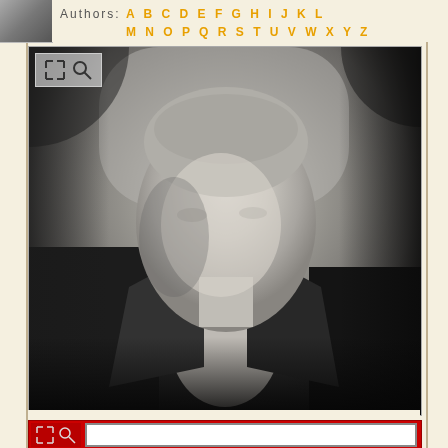Authors: A B C D E F G H I J K L M N O P Q R S T U V W X Y Z
[Figure (photo): Black and white portrait photograph of an elderly man wearing a suit and bow tie, looking slightly to the left, with a neutral background.]
[Figure (screenshot): Partial view of a red-background webpage or document panel with white inner frame and small thumbnail image, partially cut off at the bottom of the page.]